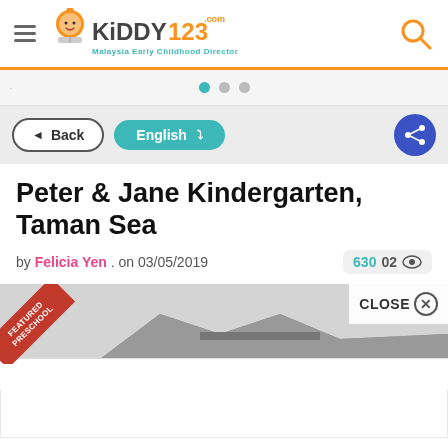[Figure (logo): Kiddy123 Malaysia Early Childhood Directory logo with orange mascot]
[Figure (infographic): Slider navigation dots: active teal dot, two grey dots]
Back | English ▾ (share button)
Peter & Jane Kindergarten, Taman Sea
by Felicia Yen . on 03/05/2019   6302 👁
[Figure (photo): Building exterior photo with Featured Preschool red ribbon banner and CLOSE button overlay, white ad popup below]